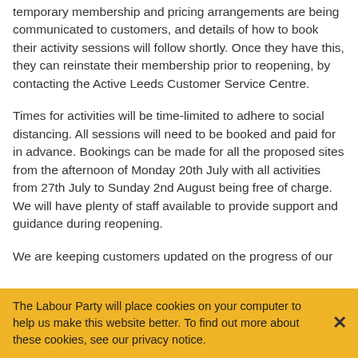temporary membership and pricing arrangements are being communicated to customers, and details of how to book their activity sessions will follow shortly. Once they have this, they can reinstate their membership prior to reopening, by contacting the Active Leeds Customer Service Centre.
Times for activities will be time-limited to adhere to social distancing. All sessions will need to be booked and paid for in advance. Bookings can be made for all the proposed sites from the afternoon of Monday 20th July with all activities from 27th July to Sunday 2nd August being free of charge. We will have plenty of staff available to provide support and guidance during reopening.
We are keeping customers updated on the progress of our
The Labour Party will place cookies on your computer to help us make this website better. To find out more about these cookies, see our privacy notice.